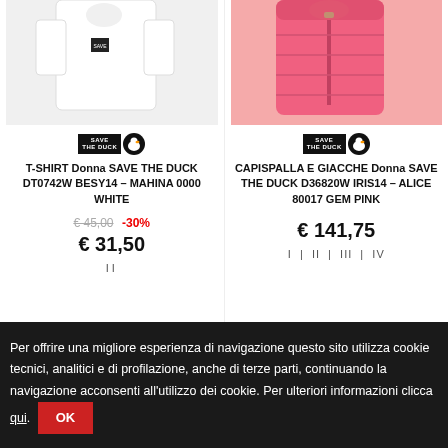[Figure (photo): White t-shirt product photo on light grey background, partially cropped at top]
[Figure (photo): Pink puffer jacket product photo on white background, partially cropped at top]
[Figure (logo): Save The Duck brand logo: black rectangle with white text and duck icon]
T-SHIRT Donna SAVE THE DUCK DT0742W BESY14 – MAHINA 0000 WHITE
€ 45,00 -30%
€ 31,50
II
[Figure (logo): Save The Duck brand logo: black rectangle with white text and duck icon]
CAPISPALLA E GIACCHE Donna SAVE THE DUCK D36820W IRIS14 – ALICE 80017 GEM PINK
€ 141,75
I | II | III | IV
Per offrire una migliore esperienza di navigazione questo sito utilizza cookie tecnici, analitici e di profilazione, anche di terze parti, continuando la navigazione acconsenti all'utilizzo dei cookie. Per ulteriori informazioni clicca qui. OK